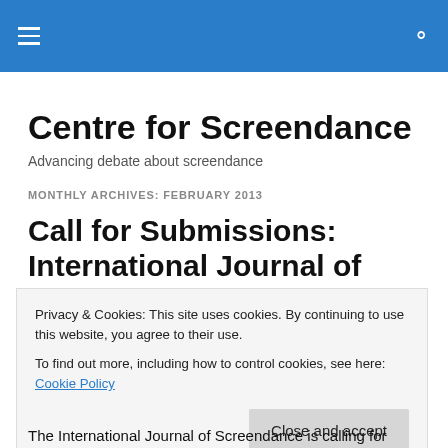Centre for Screendance — site header bar with hamburger menu and search icon
Centre for Screendance
Advancing debate about screendance
MONTHLY ARCHIVES: FEBRUARY 2013
Call for Submissions: International Journal of
Privacy & Cookies: This site uses cookies. By continuing to use this website, you agree to their use. To find out more, including how to control cookies, see here: Cookie Policy
The International Journal of Screendance is calling for